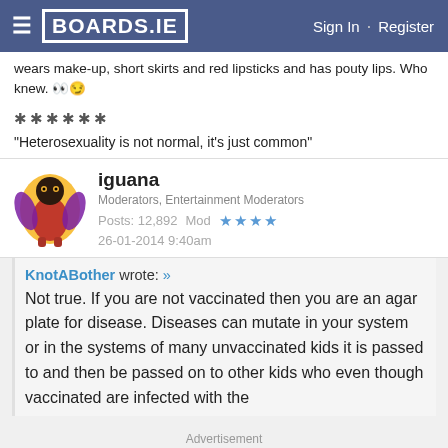BOARDS.IE   Sign In · Register
wears make-up, short skirts and red lipsticks and has pouty lips. Who knew. 👀😏
******
"Heterosexuality is not normal, it's just common"
iguana
Moderators, Entertainment Moderators
Posts: 12,892   Mod ★★★★
26-01-2014 9:40am
KnotABother wrote: »
Not true. If you are not vaccinated then you are an agar plate for disease. Diseases can mutate in your system or in the systems of many unvaccinated kids it is passed to and then be passed on to other kids who even though vaccinated are infected with the
Advertisement